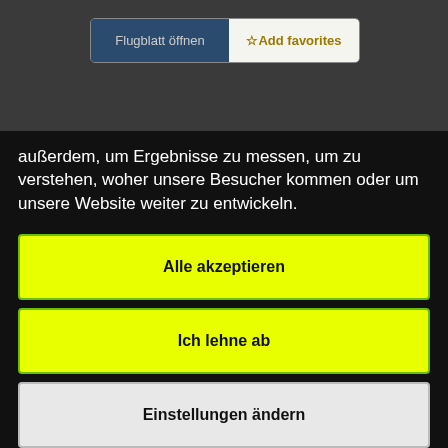[Figure (screenshot): Two buttons side by side: 'Flugblatt öffnen' (dark blue) and '☆Add favorites' (light background, gold text), inside a rounded bordered container]
außerdem, um Ergebnisse zu messen, um zu verstehen, woher unsere Besucher kommen oder um unsere Website weiter zu entwickeln.
Alle akzeptieren
Ich lehne ab
Einstellungen ändern